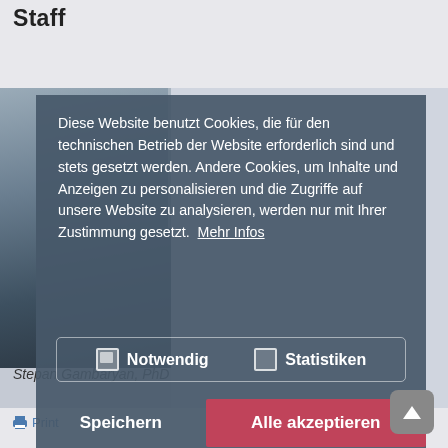Staff
[Figure (screenshot): Website cookie consent overlay on a page showing staff profile. Background shows a person photo and a cookie notice dialog in German with options to save or accept all cookies.]
Diese Website benutzt Cookies, die für den technischen Betrieb der Website erforderlich sind und stets gesetzt werden. Andere Cookies, um Inhalte und Anzeigen zu personalisieren und die Zugriffe auf unsere Website zu analysieren, werden nur mit Ihrer Zustimmung gesetzt.  Mehr Infos
Notwendig    Statistiken
Speichern    Alle akzeptieren
Stepan Gambaryan, PhD
🖨 Print
Last Update: Nov 21, 2018